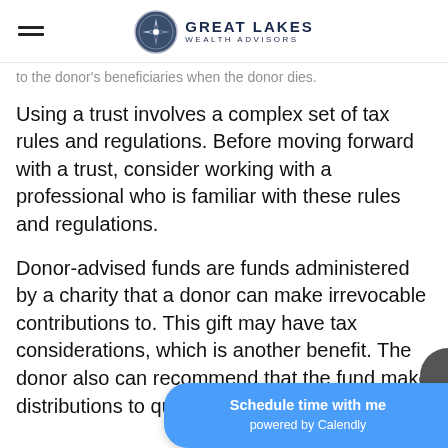Great Lakes Wealth Advisors
to the donor's beneficiaries when the donor dies.
Using a trust involves a complex set of tax rules and regulations. Before moving forward with a trust, consider working with a professional who is familiar with these rules and regulations.
Donor-advised funds are funds administered by a charity that a donor can make irrevocable contributions to. This gift may have tax considerations, which is another benefit. The donor also can recommend that the fund make distributions to qualified